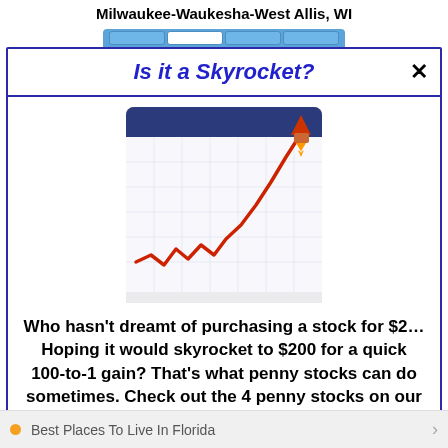Milwaukee-Waukesha-West Allis, WI
Is it a Skyrocket?
[Figure (illustration): A stock chart showing a red upward-trending line that resembles a skyrocket trajectory, on a grid background with a blue header bar and a rocket icon in the top-right corner.]
Who hasn't dreamt of purchasing a stock for $2… Hoping it would skyrocket to $200 for a quick 100-to-1 gain? That's what penny stocks can do sometimes. Check out the 4 penny stocks on our watchlist here.
>>> See The List <<<
Best Places To Live In Florida